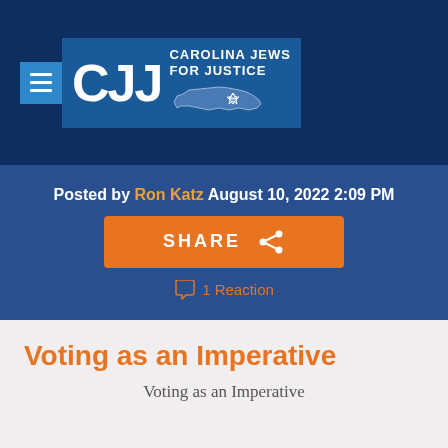[Figure (logo): Carolina Jews for Justice (CJJ) logo with hamburger menu icon, large CJJ letters in white, and 'CAROLINA JEWS FOR JUSTICE' text with North Carolina state outline and Star of David on dark blue background]
Posted by Ron Katz August 10, 2022 2:09 PM
[Figure (infographic): Orange SHARE button with share icon]
1 Reaction
Voting as an Imperative
Voting as an Imperative